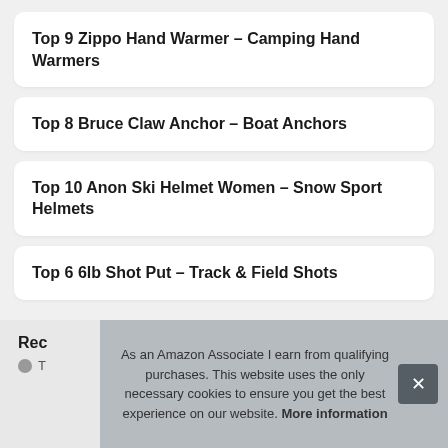Top 9 Zippo Hand Warmer – Camping Hand Warmers
Top 8 Bruce Claw Anchor – Boat Anchors
Top 10 Anon Ski Helmet Women – Snow Sport Helmets
Top 6 6lb Shot Put – Track & Field Shots
Rec
T
As an Amazon Associate I earn from qualifying purchases. This website uses the only necessary cookies to ensure you get the best experience on our website. More information